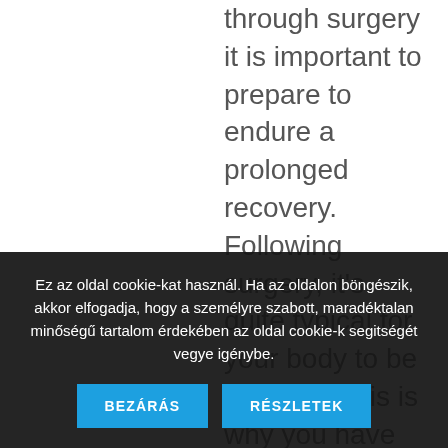through surgery it is important to prepare to endure a prolonged recovery. Following surgery, it's quite typical for your body to be infected. This is why you have to
Ez az oldal cookie-kat használ. Ha az oldalon böngészik, akkor elfogadja, hogy a személyre szabott, maradéktalan minőségű tartalom érdekében az oldal cookie-k segitségét vegye igénybe.
BEZÁRÁS
RÉSZLETEK